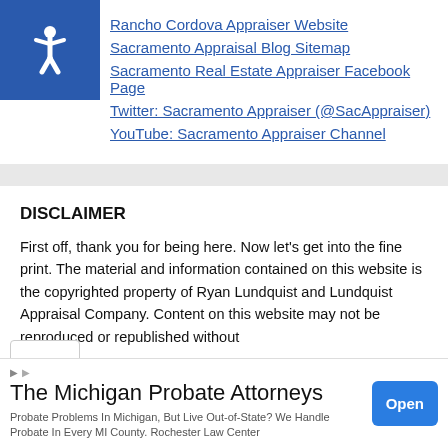Rancho Cordova Appraiser Website
Sacramento Appraisal Blog Sitemap
Sacramento Real Estate Appraiser Facebook Page
Twitter: Sacramento Appraiser (@SacAppraiser)
YouTube: Sacramento Appraiser Channel
DISCLAIMER
First off, thank you for being here. Now let’s get into the fine print. The material and information contained on this website is the copyrighted property of Ryan Lundquist and Lundquist Appraisal Company. Content on this website may not be reproduced or republished without
The Michigan Probate Attorneys
Probate Problems In Michigan, But Live Out-of-State? We Handle Probate In Every MI County. Rochester Law Center